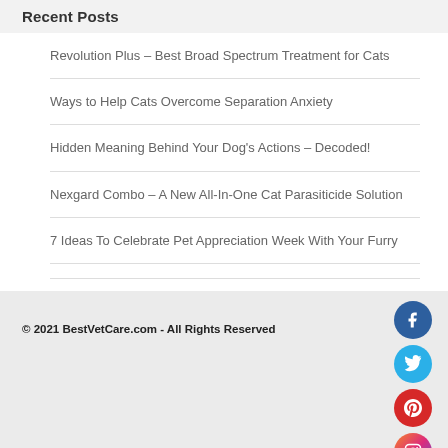Recent Posts
Revolution Plus – Best Broad Spectrum Treatment for Cats
Ways to Help Cats Overcome Separation Anxiety
Hidden Meaning Behind Your Dog's Actions – Decoded!
Nexgard Combo – A New All-In-One Cat Parasiticide Solution
7 Ideas To Celebrate Pet Appreciation Week With Your Furry
© 2021 BestVetCare.com - All Rights Reserved